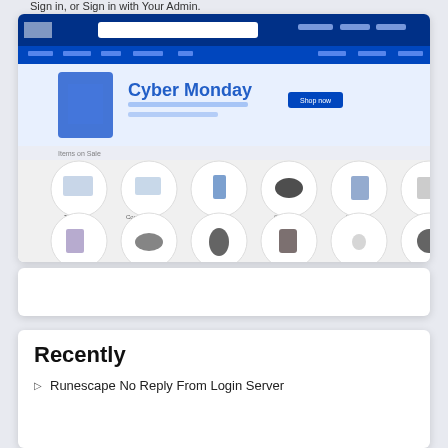Sign in, or Sign in with Your Admin.
[Figure (screenshot): Screenshot of a Best Buy website showing a Cyber Monday promotional banner with category icons including TVs, computers, phones, gaming controllers, tablets, and accessories displayed in circular thumbnails arranged in two rows.]
Recently
Runescape No Reply From Login Server